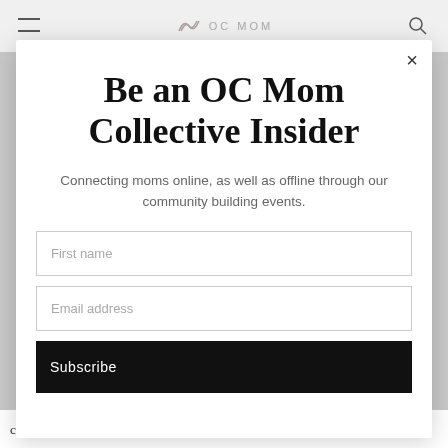OC MOM
Be an OC Mom Collective Insider
Connecting moms online, as well as offline through our community building events.
First name
Email address
Subscribe
characters, isn't into the awesomeness that is